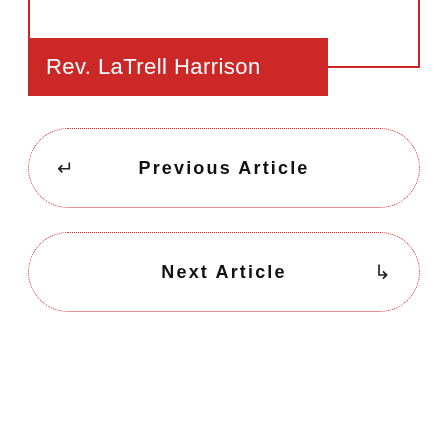Rev. LaTrell Harrison
↵  Previous Article
Next Article  ↳